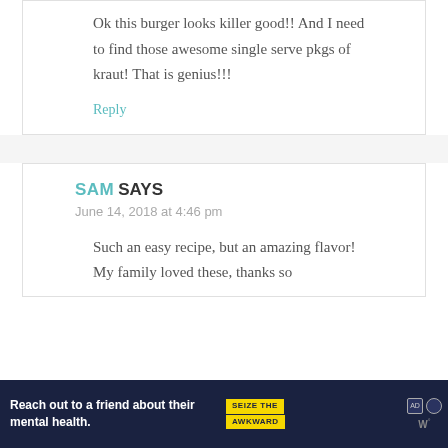Ok this burger looks killer good!! And I need to find those awesome single serve pkgs of kraut! That is genius!!!
Reply
SAM SAYS
June 14, 2018 at 4:46 pm
Such an easy recipe, but an amazing flavor! My family loved these, thanks so
[Figure (screenshot): Advertisement banner: 'Reach out to a friend about their mental health. Learn more' with 'SEIZE THE AWKWARD' badge and Ad Council logos]